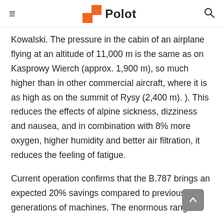Polot
Kowalski. The pressure in the cabin of an airplane flying at an altitude of 11,000 m is the same as on Kasprowy Wierch (approx. 1,900 m), so much higher than in other commercial aircraft, where it is as high as on the summit of Rysy (2,400 m). ). This reduces the effects of alpine sickness, dizziness and nausea, and in combination with 8% more oxygen, higher humidity and better air filtration, it reduces the feeling of fatigue.
Current operation confirms that the B.787 brings an expected 20% savings compared to previous generations of machines. The enormous range of B.787 also facilitates flight with the...